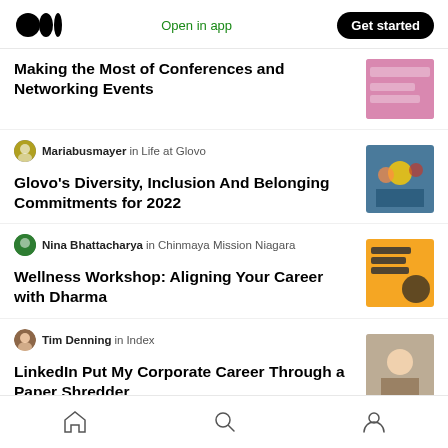Medium app header with logo, Open in app, Get started button
Making the Most of Conferences and Networking Events
Mariabusmayer in Life at Glovo
Glovo's Diversity, Inclusion And Belonging Commitments for 2022
Nina Bhattacharya in Chinmaya Mission Niagara
Wellness Workshop: Aligning Your Career with Dharma
Tim Denning in Index
LinkedIn Put My Corporate Career Through a Paper Shredder
Bottom navigation: Home, Search, Profile